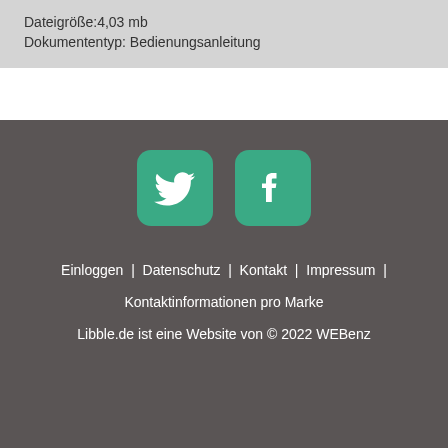Dateigröße:4,03 mb
Dokumententyp: Bedienungsanleitung
[Figure (logo): Twitter and Facebook social media icons in green rounded square buttons]
Einloggen | Datenschutz | Kontakt | Impressum | Kontaktinformationen pro Marke
Libble.de ist eine Website von © 2022 WEBenz